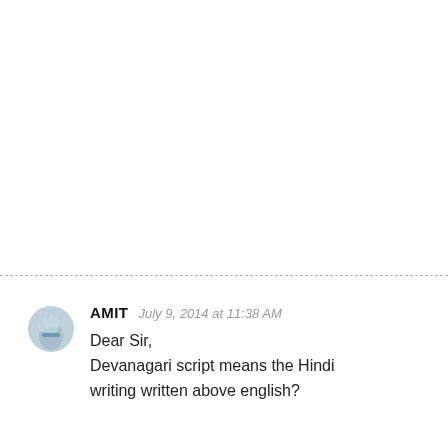AMIT  July 9, 2014 at 11:38 AM
Dear Sir,
Devanagari script means the Hindi writing written above english?